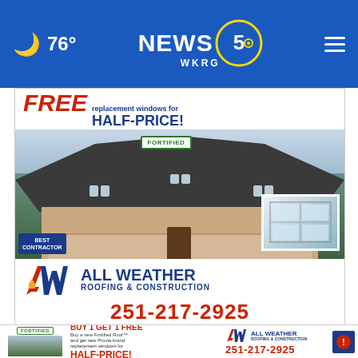🌙 76° | NEWS 5 WKRG
[Figure (photo): All Weather Roofing & Construction advertisement banner showing a house with Fortified roof, Best Contractor badge, FREE replacement windows for HALF-PRICE offer, and phone number 251-217-2925]
AROUND THE WEB
[Figure (photo): All Weather Roofing & Construction bottom banner ad: FORTIFIED Buy 1 Get 1 Free - Buy a new Fortified Roof and get new Provia brand replacement windows for HALF-PRICE! 251-217-2925]